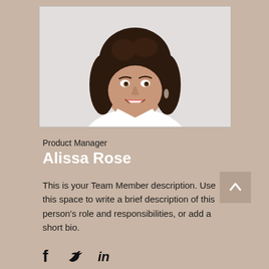[Figure (photo): Professional headshot of a young woman with curly brown hair, smiling, wearing a white shirt, resting chin on hand, on a light grey background]
Product Manager
Alissa Rose
This is your Team Member description. Use this space to write a brief description of this person's role and responsibilities, or add a short bio.
[Figure (illustration): Social media icons: Facebook (f), Twitter (bird), LinkedIn (in)]